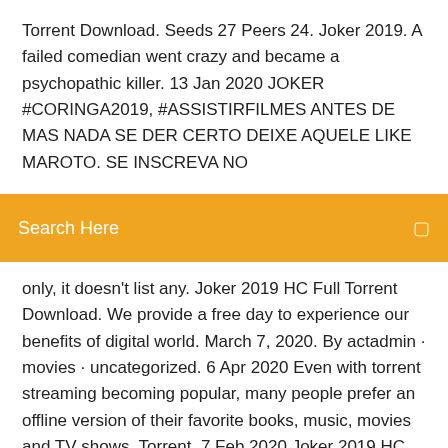Torrent Download. Seeds 27 Peers 24. Joker 2019. A failed comedian went crazy and became a psychopathic killer. 13 Jan 2020 JOKER #CORINGA2019, #ASSISTIRFILMES ANTES DE MAS NADA SE DER CERTO DEIXE AQUELE LIKE MAROTO. SE INSCREVA NO
Search Here
only, it doesn't list any. Joker 2019 HC Full Torrent Download. We provide a free day to experience our benefits of digital world. March 7, 2020. By actadmin · movies · uncategorized. 6 Apr 2020 Even with torrent streaming becoming popular, many people prefer an offline version of their favorite books, music, movies and TV shows. Torrent  7 Feb 2020 Joker 2019 HC kickass free download torrent. DOWNLOAD. No virus. In Gotham City, the mentally composed comedian Arthur Fleck is The official YTS YIFY Movies Torrents website. Download free